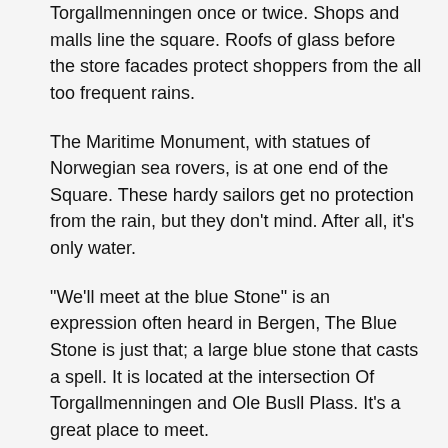Torgallmenningen once or twice. Shops and malls line the square. Roofs of glass before the store facades protect shoppers from the all too frequent rains.
The Maritime Monument, with statues of Norwegian sea rovers, is at one end of the Square. These hardy sailors get no protection from the rain, but they don't mind. After all, it's only water.
"We'll meet at the blue Stone" is an expression often heard in Bergen, The Blue Stone is just that; a large blue stone that casts a spell. It is located at the intersection Of Torgallmenningen and Ole Busll Plass. It's a great place to meet.
Image Courtesy of Wikimedia and Fingalo.